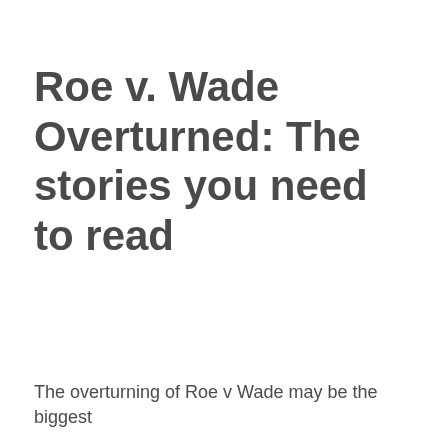Roe v. Wade Overturned: The stories you need to read
The overturning of Roe v Wade may be the biggest